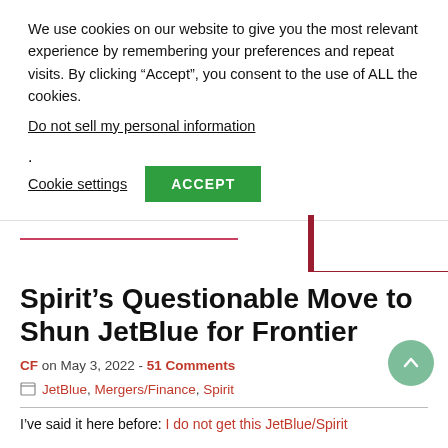We use cookies on our website to give you the most relevant experience by remembering your preferences and repeat visits. By clicking “Accept”, you consent to the use of ALL the cookies.
Do not sell my personal information.
Cookie settings
ACCEPT
Spirit’s Questionable Move to Shun JetBlue for Frontier
CF on May 3, 2022 - 51 Comments
JetBlue, Mergers/Finance, Spirit
I’ve said it here before: I do not get this JetBlue/Spirit